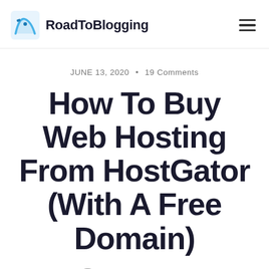RoadToBlogging
JUNE 13, 2020 • 19 Comments
How To Buy Web Hosting From HostGator (With A Free Domain)
By ISTIAK RAYHAN